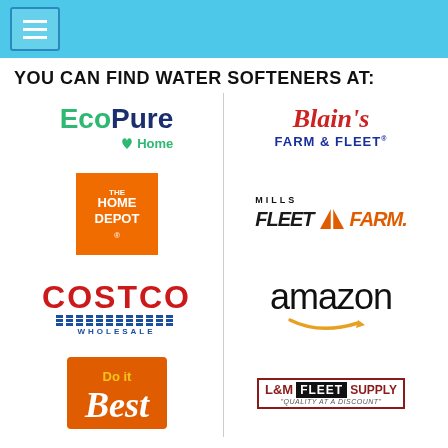Navigation menu header bar
YOU CAN FIND WATER SOFTENERS AT:
[Figure (logo): EcoPure Home logo — green and dark navy text]
[Figure (logo): Blain's Farm & Fleet logo — red script Blain's, blue Farm & Fleet]
[Figure (logo): The Home Depot orange square logo]
[Figure (logo): Mills Fleet Farm logo in black and orange italic]
[Figure (logo): Costco Wholesale logo in red and blue]
[Figure (logo): Amazon logo with orange arrow]
[Figure (logo): Do it Best logo in orange and yellow]
[Figure (logo): L&M Fleet Supply logo with tagline Quality at a Discount]